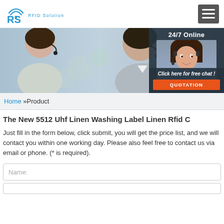[Figure (logo): RS RFID Solution logo with wifi icon]
[Figure (photo): Call center agents wearing headsets, with a 24/7 Online support overlay panel showing a female agent, 'Click here for free chat!' text, and an orange QUOTATION button]
Home »Product
The New 5512 Uhf Linen Washing Label Linen Rfid C
Just fill in the form below, click submit, you will get the price list, and we will contact you within one working day. Please also feel free to contact us via email or phone. (* is required).
Name: